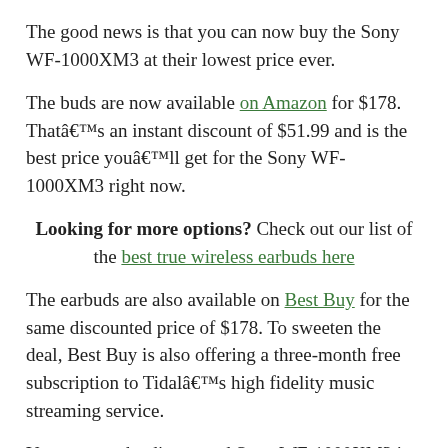The good news is that you can now buy the Sony WF-1000XM3 at their lowest price ever.
The buds are now available on Amazon for $178. Thatâ€™s an instant discount of $51.99 and is the best price youâ€™ll get for the Sony WF-1000XM3 right now.
Looking for more options? Check out our list of the best true wireless earbuds here
The earbuds are also available on Best Buy for the same discounted price of $178. To sweeten the deal, Best Buy is also offering a three-month free subscription to Tidalâ€™s high fidelity music streaming service.
You can get the discounted Sony WF-1000XM3 in two colors on Amazon and Best Buy: black and silver. So what are you waiting for? Grab this deal before it ends or before stocks run out. Click on the links below to purchase the Sony WF-